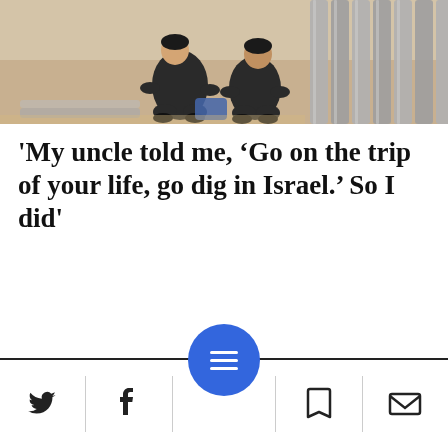[Figure (photo): Two people crouching on a floor, surrounded by cylindrical metal/stone pillars or tubes laid out in rows]
'My uncle told me, ‘Go on the trip of your life, go dig in Israel.’ So I did'
Navigation bar with Twitter, Facebook, menu, bookmark, and email icons